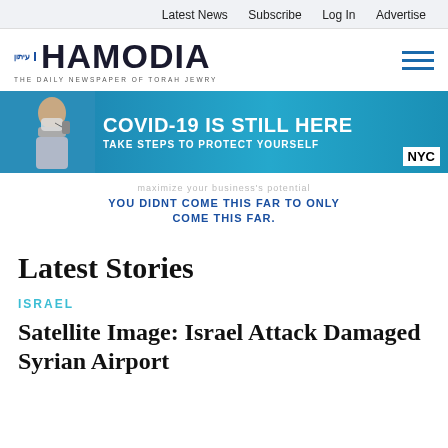Latest News  Subscribe  Log In  Advertise
[Figure (logo): Hamodia newspaper logo with Hebrew prefix and tagline 'THE DAILY NEWSPAPER OF TORAH JEWRY']
[Figure (infographic): NYC COVID-19 awareness banner ad: 'COVID-19 IS STILL HERE TAKE STEPS TO PROTECT YOURSELF' with NYC logo and person wearing mask]
[Figure (infographic): Business ad: 'maximize your business's potential YOU DIDNT COME THIS FAR TO ONLY COME THIS FAR.']
Latest Stories
ISRAEL
Satellite Image: Israel Attack Damaged Syrian Airport